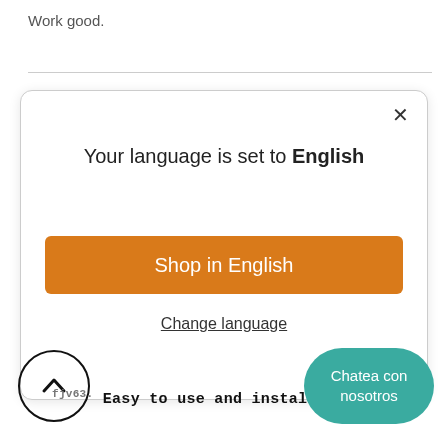Work good.
[Figure (screenshot): A language selection modal dialog with title 'Your language is set to English', an orange 'Shop in English' button, and a 'Change language' underlined link. A close (×) button is in the top-right corner.]
Easy to use and install!